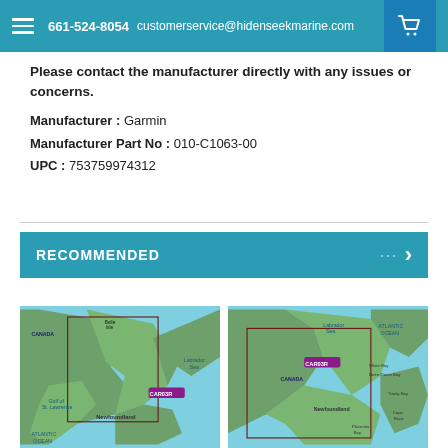661-524-8054 customerservice@hidenseekmarine.com
Please contact the manufacturer directly with any issues or concerns.
Manufacturer : Garmin
Manufacturer Part No : 010-C1063-00
UPC : 753759974312
RECOMMENDED
[Figure (map): Garmin nautical chart map showing Gulf of St. Lawrence and Newfoundland area with Labrador Sea, Atlantic Ocean label]
[Figure (map): Garmin nautical chart map showing Newfoundland closeup with Labrador Sea, Atlantic Ocean, White Bay, Notre Dame Bay, Trinity Bay, Placentia Bay, Cape Race]